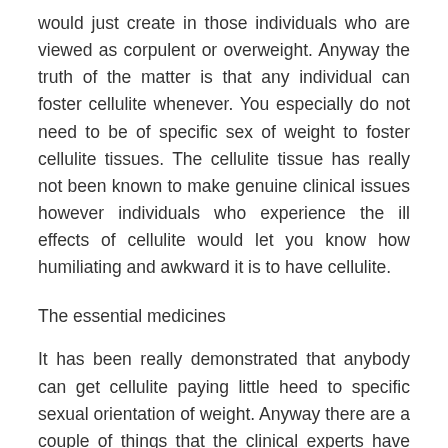would just create in those individuals who are viewed as corpulent or overweight. Anyway the truth of the matter is that any individual can foster cellulite whenever. You especially do not need to be of specific sex of weight to foster cellulite tissues. The cellulite tissue has really not been known to make genuine clinical issues however individuals who experience the ill effects of cellulite would let you know how humiliating and awkward it is to have cellulite.
The essential medicines
It has been really demonstrated that anybody can get cellulite paying little heed to specific sexual orientation of weight. Anyway there are a couple of things that the clinical experts have settled upon with regards to treating cellulite. Assuming you have cellulite you really must drink sufficient measure of water consistently so you keep an appropriate hydrated framework. Aside from this you genuinely must pursue